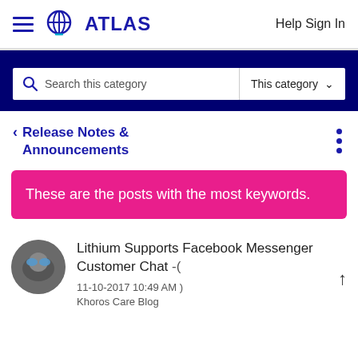ATLAS  Help Sign In
Search this category  This category
< Release Notes & Announcements
These are the posts with the most keywords.
Lithium Supports Facebook Messenger Customer Chat -( 11-10-2017 10:49 AM ) Khoros Care Blog